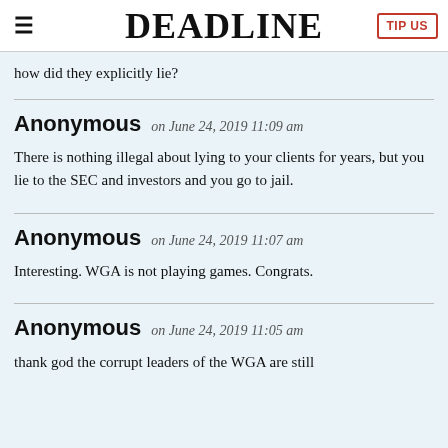DEADLINE
how did they explicitly lie?
Anonymous on June 24, 2019 11:09 am
There is nothing illegal about lying to your clients for years, but you lie to the SEC and investors and you go to jail.
Anonymous on June 24, 2019 11:07 am
Interesting. WGA is not playing games. Congrats.
Anonymous on June 24, 2019 11:05 am
thank god the corrupt leaders of the WGA are still